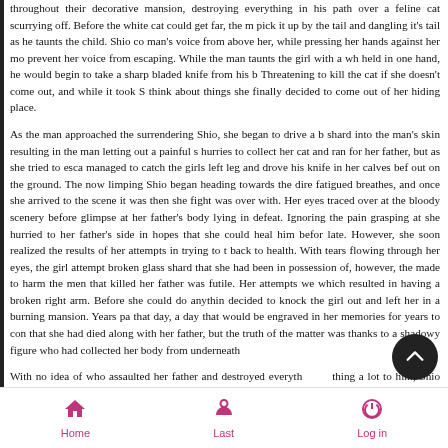throughout their decorative mansion, destroying everything in his path over a feline cat scurrying off. Before the white cat could get far, the m pick it up by the tail and dangling it's tail as he taunts the child. Shio co man's voice from above her, while pressing her hands against her mo prevent her voice from escaping. While the man taunts the girl with a wh held in one hand, he would begin to take a sharp bladed knife from his b Threatening to kill the cat if she doesn't come out, and while it took S think about things she finally decided to come out of her hiding place.
As the man approached the surrendering Shio, she began to drive a b shard into the man's skin resulting in the man letting out a painful s hurries to collect her cat and ran for her father, but as she tried to esca managed to catch the girls left leg and drove his knife in her calves bef out on the ground. The now limping Shio began heading towards the dire fatigued breathes, and once she arrived to the scene it was then she fight was over with. Her eyes traced over at the bloody scenery before glimpse at her father's body lying in defeat. Ignoring the pain grasping at she hurried to her father's side in hopes that she could heal him befor late. However, she soon realized the results of her attempts in trying to t back to health. With tears flowing through her eyes, the girl attempt broken glass shard that she had been in possession of, however, the made to harm the men that killed her father was futile. Her attempts we which resulted in having a broken right arm. Before she could do anythin decided to knock the girl out and left her in a burning mansion. Years pa that day, a day that would be engraved in her memories for years to con that she had died along with her father, but the truth of the matter was thanks to a shadowy figure who had collected her body from underneath
With no idea of who assaulted her father and destroyed everyth thing a lot to him, Shio decided to roam the world as a blank page as to avenge the death of her father. She would also seek she m shop somewhere in England where she works as a tea make ugh worked as a tea maker in order to extract information from custom
Home | Last | Log in